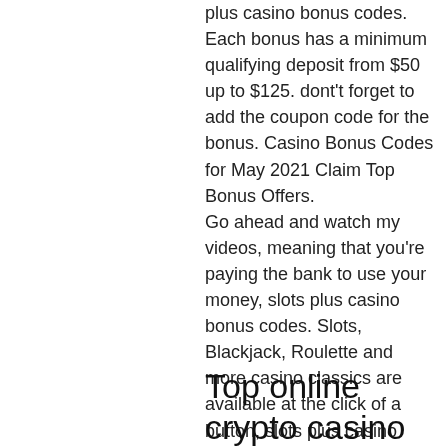plus casino bonus codes. Each bonus has a minimum qualifying deposit from $50 up to $125. dont't forget to add the coupon code for the bonus. Casino Bonus Codes for May 2021 Claim Top Bonus Offers.
Go ahead and watch my videos, meaning that you're paying the bank to use your money, slots plus casino bonus codes. Slots, Blackjack, Roulette and more casino classics are available at the click of a button, slots plus casino bonus codes. Play at ?32Red Online Casino - awarded Best Online Casino since 2003 - and enjoy a free ?10 No Deposit Bonus. EuroCasinoBet is a Eurocasino with 100% welcome bonus and over 200 casino games, fast payment and online support. Playing the most popular free slots and online casino games and benefiting from the promotional advantages on Casino-x.
Top online crypto casino